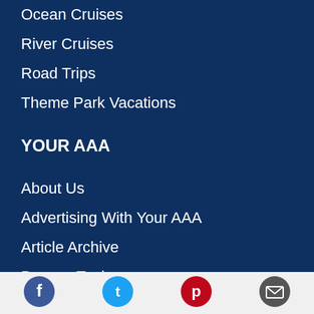Ocean Cruises
River Cruises
Road Trips
Theme Park Vacations
YOUR AAA
About Us
Advertising With Your AAA
Article Archive
Browse Topics
Contact Us
[Figure (illustration): Social media icons: Facebook (blue circle), Twitter (light blue circle), Pinterest (red circle), Email (dark gray circle)]